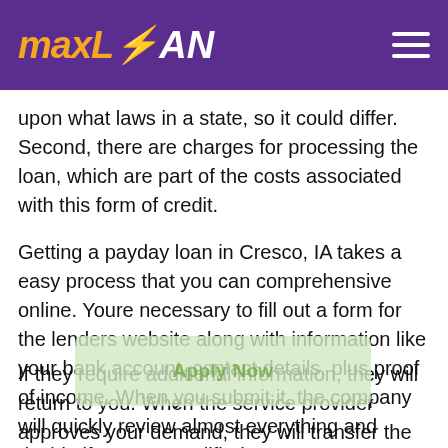maxLOAN
upon what laws in a state, so it could differ. Second, there are charges for processing the loan, which are part of the costs associated with this form of credit.
Getting a payday loan in Cresco, IA takes a easy process that you can comprehensive online. Youre necessary to fill out a form for the lenders website along with information like your bank account, contact details, plus proof of income. When you submit it, the company will quickly review almost everything and decide if you are qualified.
If they require additional information, they will return to you. When the service provider approves your demand, they will transfer the cash to your account within twenty-four hours in most cases. If you need the cash urgently